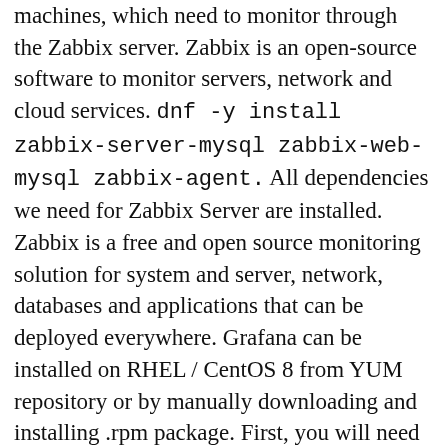machines, which need to monitor through the Zabbix server. Zabbix is an open-source software to monitor servers, network and cloud services. dnf -y install zabbix-server-mysql zabbix-web-mysql zabbix-agent. All dependencies we need for Zabbix Server are installed. Zabbix is a free and open source monitoring solution for system and server, network, databases and applications that can be deployed everywhere. Grafana can be installed on RHEL / CentOS 8 from YUM repository or by manually downloading and installing .rpm package. First, you will need to install the Apache webserver, MariaDB database server, PHP and other required PHP extension to your system. This post focuses on installing the latest version of Grafana v6.x on a CentOS 8 instance. Therefore, all remote machines must be provided with a client for the server to work.